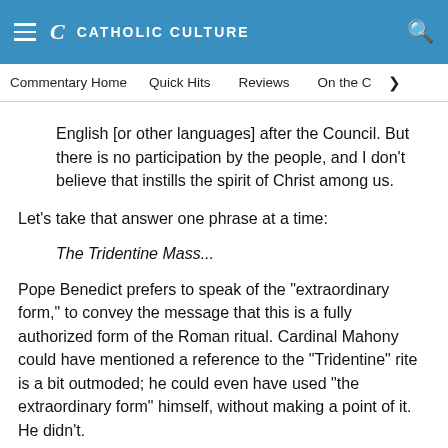CATHOLIC CULTURE
Commentary Home   Quick Hits   Reviews   On the C  >
English [or other languages] after the Council. But there is no participation by the people, and I don't believe that instills the spirit of Christ among us.
Let's take that answer one phrase at a time:
The Tridentine Mass...
Pope Benedict prefers to speak of the "extraordinary form," to convey the message that this is a fully authorized form of the Roman ritual. Cardinal Mahony could have mentioned a reference to the "Tridentine" rite is a bit outmoded; he could even have used "the extraordinary form" himself, without making a point of it. He didn't.